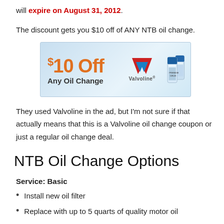will expire on August 31, 2012.
The discount gets you $10 off of ANY NTB oil change.
[Figure (illustration): Coupon graphic showing '$10 Off Any Oil Change' with Valvoline logo and oil bottles on a light blue background]
They used Valvoline in the ad, but I'm not sure if that actually means that this is a Valvoline oil change coupon or just a regular oil change deal.
NTB Oil Change Options
Service: Basic
Install new oil filter
Replace with up to 5 quarts of quality motor oil